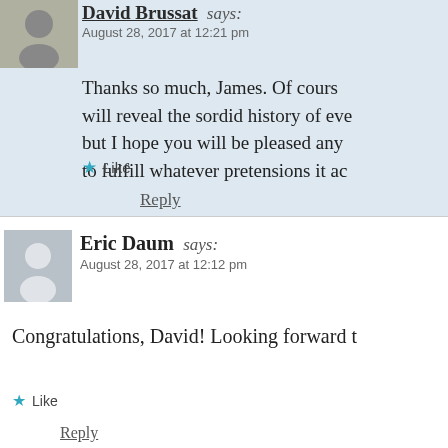[Figure (photo): Small avatar photo of David Brussat, a man with gray beard]
David Brussat says:
August 28, 2017 at 12:21 pm
Thanks so much, James. Of course will reveal the sordid history of eve but I hope you will be pleased any to fulfill whatever pretensions it ac
Like
Reply
[Figure (illustration): Generic gray avatar silhouette for Eric Daum]
Eric Daum says:
August 28, 2017 at 12:12 pm
Congratulations, David! Looking forward t
Like
Reply